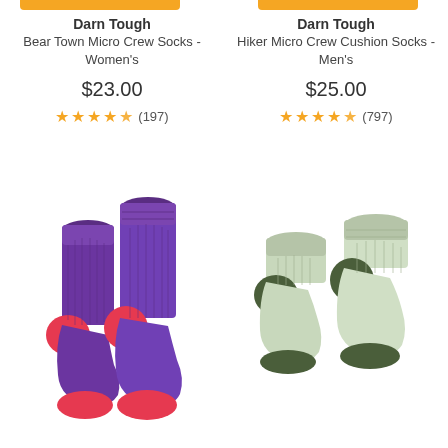Darn Tough
Bear Town Micro Crew Socks - Women's
$23.00
★★★★½ (197)
Darn Tough
Hiker Micro Crew Cushion Socks - Men's
$25.00
★★★★½ (797)
[Figure (photo): Two purple/magenta crew socks with red heel and toe accents - Darn Tough Bear Town Micro Crew Socks Women's]
[Figure (photo): Two olive/sage green quarter crew socks with dark olive heel and toe accents - Darn Tough Hiker Micro Crew Cushion Socks Men's]